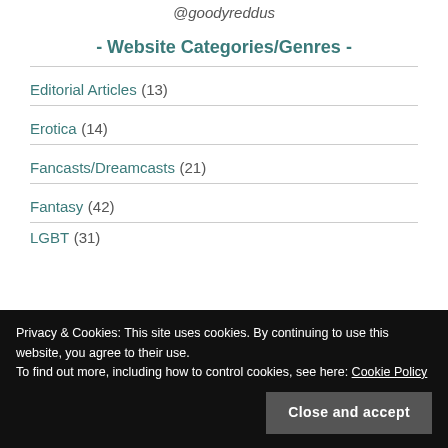@goodyreddus
- Website Categories/Genres -
Editorial Articles (13)
Erotica (14)
Fancasts/Dreamcasts (21)
Fantasy (42)
Privacy & Cookies: This site uses cookies. By continuing to use this website, you agree to their use.
To find out more, including how to control cookies, see here: Cookie Policy
LGBT (31)